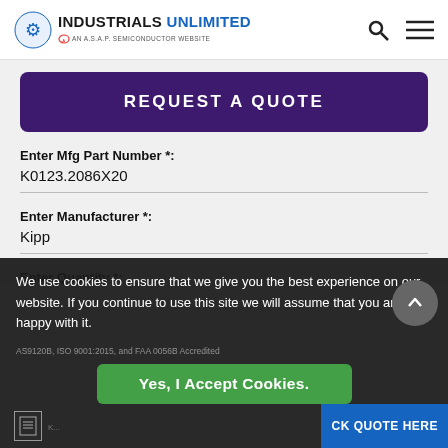[Figure (logo): Industrials Unlimited logo with gear icon and ASAP Semiconductor website tagline]
REQUEST A QUOTE
Enter Mfg Part Number *:
K0123.2086X20
Enter Manufacturer *:
Kipp
Enter Quantity *:
We use cookies to ensure that we give you the best experience on our website. If you continue to use this site we will assume that you are happy with it.
Yes, I Accept Cookies.
AS9120B, ISO 9001:2015, and FAA 0056B Accredited
CK QUOTE HERE